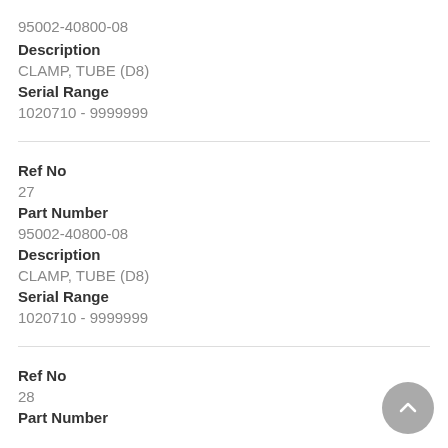95002-40800-08
Description
CLAMP, TUBE (D8)
Serial Range
1020710 - 9999999
Ref No
27
Part Number
95002-40800-08
Description
CLAMP, TUBE (D8)
Serial Range
1020710 - 9999999
Ref No
28
Part Number